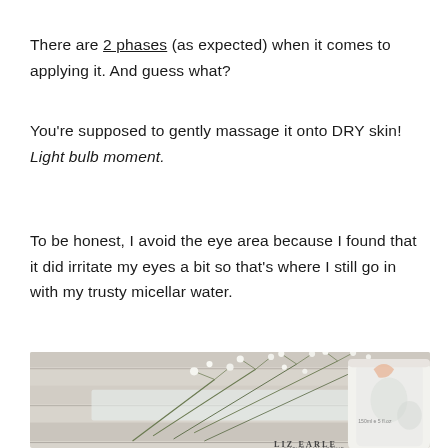There are 2 phases (as expected) when it comes to applying it. And guess what?
You’re supposed to gently massage it onto DRY skin! Light bulb moment.
To be honest, I avoid the eye area because I found that it did irritate my eyes a bit so that’s where I still go in with my trusty micellar water.
[Figure (photo): A close-up photo of white baby's breath flowers resting on a light-coloured surface next to a Liz Earle skincare product bottle with floral branding.]